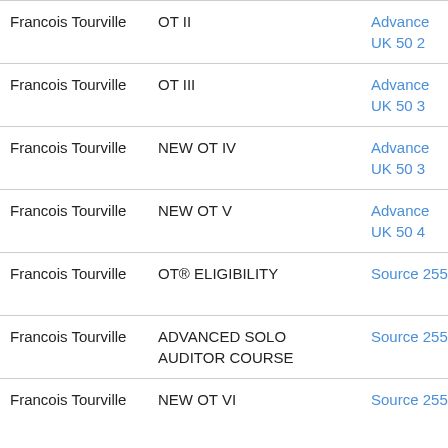| Name | Course | Publication | Date |
| --- | --- | --- | --- |
| Francois Tourville | OT II | Advance UK 50 2 | 2018-05-01 |
| Francois Tourville | OT III | Advance UK 50 3 | 2018-07-01 |
| Francois Tourville | NEW OT IV | Advance UK 50 3 | 2018-07-01 |
| Francois Tourville | NEW OT V | Advance UK 50 4 | 2018-09-01 |
| Francois Tourville | OT® ELIGIBILITY | Source 255 | 2019-01-01 |
| Francois Tourville | ADVANCED SOLO AUDITOR COURSE | Source 255 | 2019-01-01 |
| Francois Tourville | NEW OT VI | Source 255 | 2019-01-01 |
Note: The dates listed above are the approximate publication dates of the magazines, which may be weeks or months later than the actual date the service was completed.